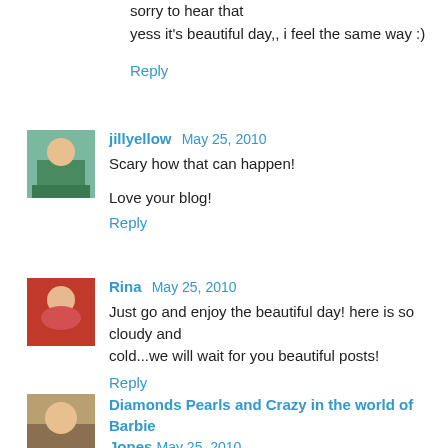sorry to hear that
yess it's beautiful day,, i feel the same way :)
Reply
jillyellow  May 25, 2010
Scary how that can happen!

Love your blog!
Reply
Rina  May 25, 2010
Just go and enjoy the beautiful day! here is so cloudy and cold...we will wait for you beautiful posts!
Reply
Diamonds Pearls and Crazy in the world of Barbie Jones  May 25, 2010